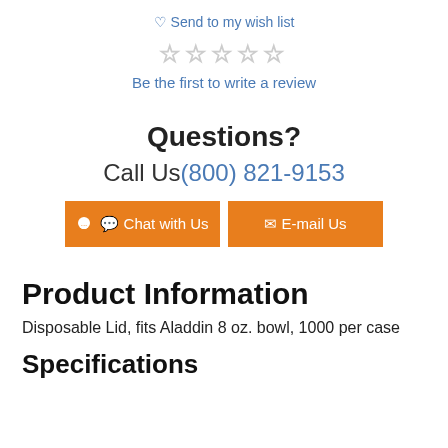♡ Send to my wish list
[Figure (other): Five empty star rating icons]
Be the first to write a review
Questions?
Call Us(800) 821-9153
💬 Chat with Us   ✉ E-mail Us
Product Information
Disposable Lid, fits Aladdin 8 oz. bowl, 1000 per case
Specifications